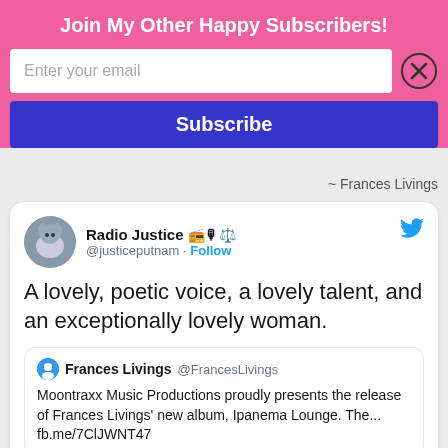Join My Other Happy Subscribers!
[Figure (screenshot): Email subscription form with input field 'Enter your email', a close (X) button, and a blue 'Subscribe' button on a pink background]
~ Frances Livings
[Figure (screenshot): Twitter/X tweet card from Radio Justice (@justiceputnam) with Follow button and Twitter bird icon. Tweet text: 'A lovely, poetic voice, a lovely talent, and an exceptionally lovely woman.' Quoted tweet from Frances Livings @FrancesLivings: 'Moontraxx Music Productions proudly presents the release of Frances Livings' new album, Ipanema Lounge. The... fb.me/7ClJWNT47']